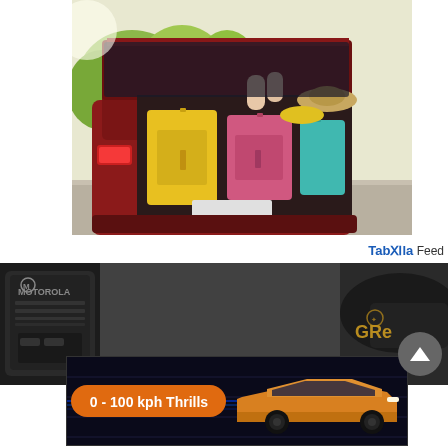[Figure (photo): Open trunk/boot of a red SUV packed with colorful suitcases (yellow, pink, teal) and a person with legs visible sitting in the trunk area, with a straw hat and yellow hat visible, set against a sunny outdoor background with trees.]
Taboola Feed
[Figure (photo): Dark close-up photo showing a Motorola radio/walkie-talkie on the left side and a person wearing a hat with 'GRe' text visible on the right, suggesting a law enforcement or security context.]
[Figure (photo): Advertisement banner showing an orange/gold sports car (appears to be a Ford Mustang Mach-E or similar EV) on a dark background with a red/orange pill-shaped label reading '0 - 100 kph Thrills'.]